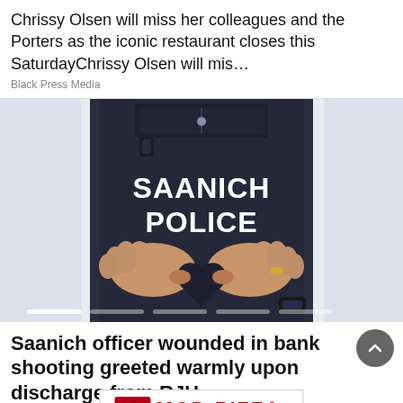Chrissy Olsen will miss her colleagues and the Porters as the iconic restaurant closes this SaturdayChrissy Olsen will mis…
Black Press Media
[Figure (photo): Person wearing a Saanich Police vest, hands forming a heart shape over the chest. Carousel with 5 indicator dots at bottom.]
Saanich officer wounded in bank shooting greeted warmly upon discharge from RJH
Black Press Media